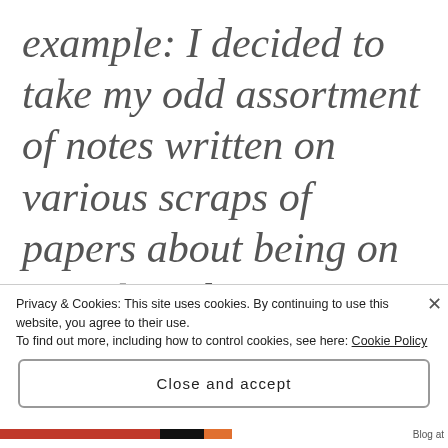example: I decided to take my odd assortment of notes written on various scraps of papers about being on Social Media Summer Sabbatical and put them “down” on a...
Privacy & Cookies: This site uses cookies. By continuing to use this website, you agree to their use.
To find out more, including how to control cookies, see here: Cookie Policy
Close and accept